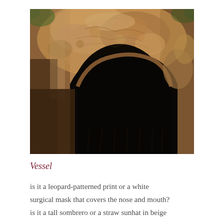[Figure (photo): Close-up photograph of a large hollow tree trunk or burl wood. The upper portion shows textured, gnarled, brownish bark with swirling patterns. The lower center shows a large dark hollow opening in the wood, creating an arch-like cavity. Green foliage is faintly visible in the upper background corners.]
Vessel
is it a leopard-patterned print or a white surgical mask that covers the nose and mouth? is it a tall sombrero or a straw sunhat in beige